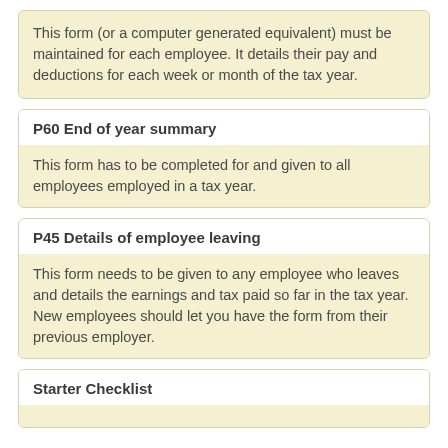This form (or a computer generated equivalent) must be maintained for each employee. It details their pay and deductions for each week or month of the tax year.
P60 End of year summary
This form has to be completed for and given to all employees employed in a tax year.
P45 Details of employee leaving
This form needs to be given to any employee who leaves and details the earnings and tax paid so far in the tax year. New employees should let you have the form from their previous employer.
Starter Checklist